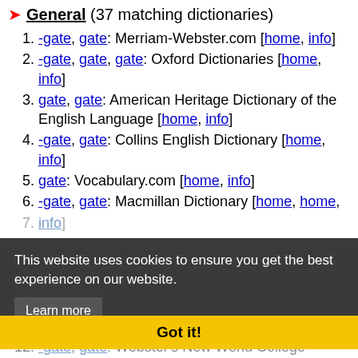General (37 matching dictionaries)
1. -gate, gate: Merriam-Webster.com [home, info]
2. -gate, gate, gate: Oxford Dictionaries [home, info]
3. gate, gate: American Heritage Dictionary of the English Language [home, info]
4. -gate, gate: Collins English Dictionary [home, info]
5. gate: Vocabulary.com [home, info]
6. -gate, gate: Macmillan Dictionary [home, info]
7. Gate, gate: Wordnik [home, info]
8. gate: Cambridge Advanced Learner's Dictionary [home, info]
9. GATE, Gate, -gate, gate: Wiktionary [home, info]
10. -gate, gate: Webster's New World College Dictionary, 4th Ed. [home, info]
11. gate: The Wordsmyth English Dictionary-
This website uses cookies to ensure you get the best experience on our website. Learn more Got it!